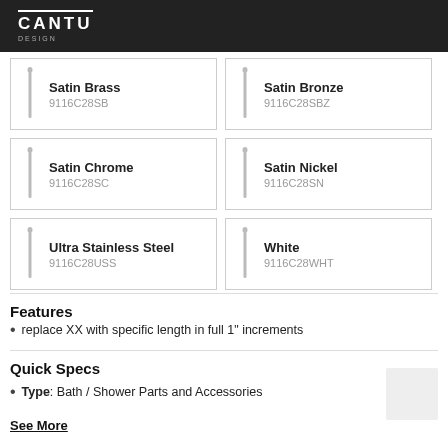CANTU
[Figure (illustration): Product image: Satin Brass rod - SKU 9116C28SB]
[Figure (illustration): Product image: Satin Bronze rod - SKU 9116C28SBZ]
[Figure (illustration): Product image: Satin Chrome rod - SKU 9116C28SC]
[Figure (illustration): Product image: Satin Nickel rod - SKU 9116C28SN]
[Figure (illustration): Product image: Ultra Stainless Steel rod - SKU 9116C28USS]
[Figure (illustration): Product image: White rod - SKU 9116C28WHT]
Features
replace XX with specific length in full 1" increments
Quick Specs
Type: Bath / Shower Parts and Accessories
See More